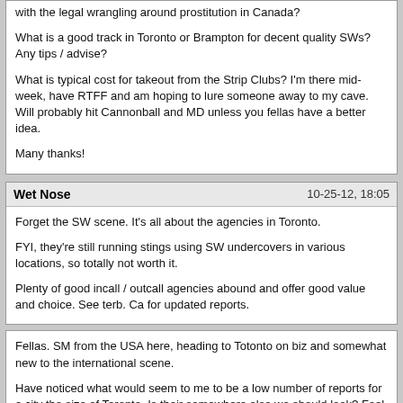with the legal wrangling around prostitution in Canada?

What is a good track in Toronto or Brampton for decent quality SWs? Any tips / advise?

What is typical cost for takeout from the Strip Clubs? I'm there mid-week, have RTFF and am hoping to lure someone away to my cave. Will probably hit Cannonball and MD unless you fellas have a better idea.

Many thanks!
Wet Nose | 10-25-12, 18:05
Forget the SW scene. It's all about the agencies in Toronto.

FYI, they're still running stings using SW undercovers in various locations, so totally not worth it.

Plenty of good incall / outcall agencies abound and offer good value and choice. See terb. Ca for updated reports.
Fellas. SM from the USA here, heading to Totonto on biz and somewhat new to the international scene.

Have noticed what would seem to me to be a low number of reports for a city the size of Toronto. Is their somewhere else we should look? Feel free to PM.

My questions:

Is LEO still cracking down on the SW scene up there, or have they left it alone with the legal wrangling around prostitution in Canada?

What is a good track in Toronto or Brampton for decent quality SWs? Any tips / advise?

What is typical cost for takeout from the Strip Clubs? I'm there mid-week, have